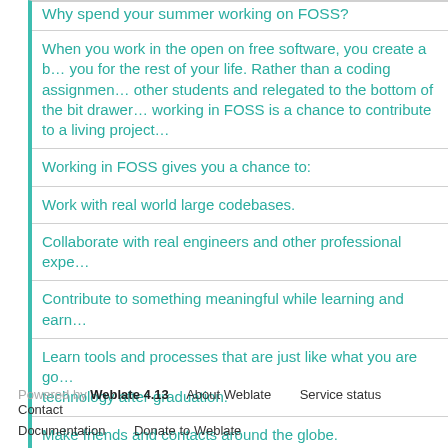Why spend your summer working on FOSS?
When you work in the open on free software, you create a body of work that represents you for the rest of your life. Rather than a coding assignment that is only seen by other students and relegated to the bottom of the bit drawer after the semester ends, working in FOSS is a chance to contribute to a living project.
Working in FOSS gives you a chance to:
Work with real world large codebases.
Collaborate with real engineers and other professional experts.
Contribute to something meaningful while learning and earning.
Learn tools and processes that are just like what you are going to be using in technology after graduation.
Make friends and contacts around the globe.
Powered by Weblate 4.13    About Weblate    Service status    Contact    Documentation    Donate to Weblate